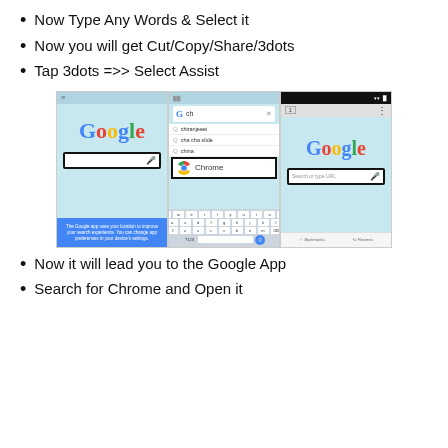Now Type Any Words & Select it
Now you will get Cut/Copy/Share/3dots
Tap 3dots =>> Select Assist
[Figure (screenshot): Three side-by-side smartphone screenshots showing Google app and Chrome browser search screens]
Now it will lead you to the Google App
Search for Chrome and Open it